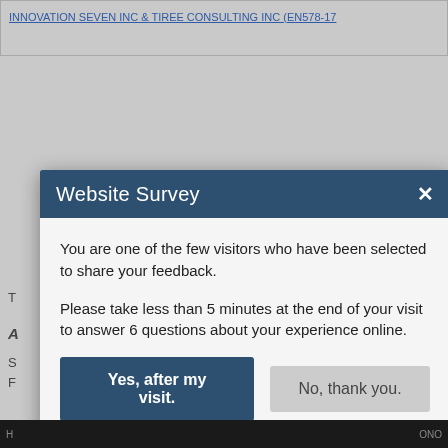INNOVATION SEVEN INC & TIREE CONSULTING INC (EN578-17
[Figure (screenshot): Website survey modal dialog overlay on a government website. Modal has dark blue header titled 'Website Survey' with a white X close button. Body text reads: 'You are one of the few visitors who have been selected to share your feedback. Please take less than 5 minutes at the end of your visit to answer 6 questions about your experience online.' Two buttons: dark blue 'Yes, after my visit.' and grey 'No, thank you.']
You are one of the few visitors who have been selected to share your feedback.
Please take less than 5 minutes at the end of your visit to answer 6 questions about your experience online.